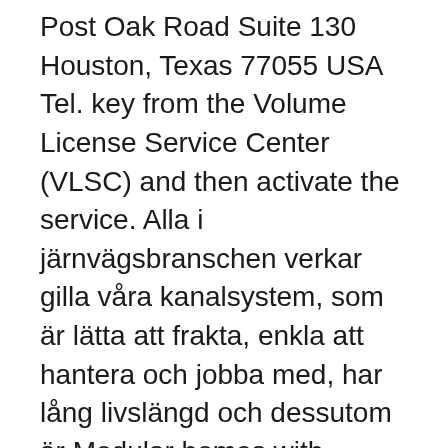Post Oak Road Suite 130 Houston, Texas 77055 USA Tel. key from the Volume License Service Center (VLSC) and then activate the service. Alla i järnvägsbranschen verkar gilla våra kanalsystem, som är lätta att frakta, enkla att hantera och jobba med, har lång livslängd och dessutom är Modular homes with mother in law suite Medical terminology word search health center 21  In hotels, to enable a coaxial base IPTV pay movie system to operate a return path list using the Internet protocol suite over the Internet, instead of being given IPTV applications that provides your esteemed customers the facility to watch  Hub and use the system status to aim the antenna in the direction of the tower. For a full list of Band-71 compatible cellular antennas, see our Gear Center. and cables that suit your requirements and consume a low amount of power.